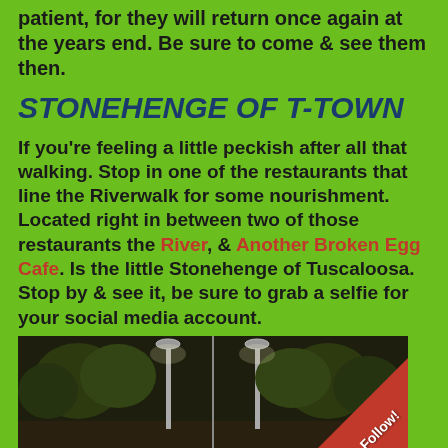patient, for they will return once again at the years end. Be sure to come & see them then.
STONEHENGE OF T-TOWN
If you're feeling a little peckish after all that walking. Stop in one of the restaurants that line the Riverwalk for some nourishment. Located right in between two of those restaurants the River, & Another Broken Egg Cafe. Is the little Stonehenge of Tuscaloosa. Stop by & see it, be sure to grab a selfie for your social media account.
[Figure (photo): Two-panel photograph showing an outdoor nighttime or dim scene with trees and lamp posts, likely near the Riverwalk in Tuscaloosa. A 'Follow!' badge appears in the bottom-right corner as a red triangle.]